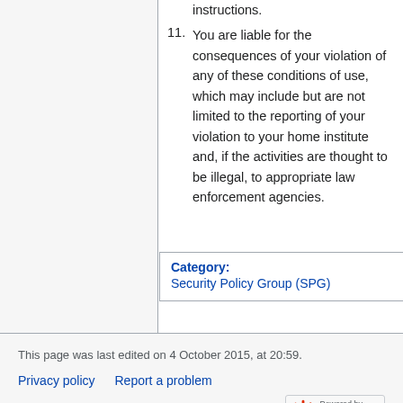instructions.
11. You are liable for the consequences of your violation of any of these conditions of use, which may include but are not limited to the reporting of your violation to your home institute and, if the activities are thought to be illegal, to appropriate law enforcement agencies.
Category:
Security Policy Group (SPG)
This page was last edited on 4 October 2015, at 20:59.
Privacy policy   Report a problem   Disclaimers   Powered by MediaWiki